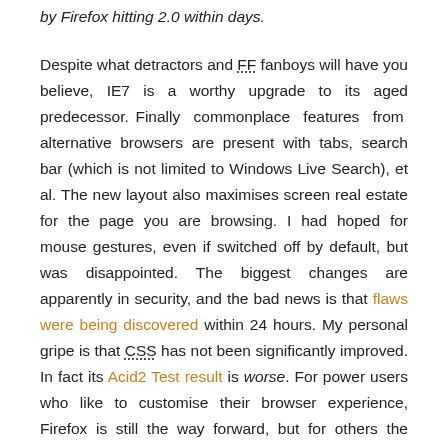by Firefox hitting 2.0 within days. Despite what detractors and FF fanboys will have you believe, IE7 is a worthy upgrade to its aged predecessor. Finally commonplace features from alternative browsers are present with tabs, search bar (which is not limited to Windows Live Search), et al. The new layout also maximises screen real estate for the page you are browsing. I had hoped for mouse gestures, even if switched off by default, but was disappointed. The biggest changes are apparently in security, and the bad news is that flaws were being discovered within 24 hours. My personal gripe is that CSS has not been significantly improved. In fact its Acid2 Test result is worse. For power users who like to customise their browser experience, Firefox is still the way forward, but for others the reasons to shift from IE are significantly